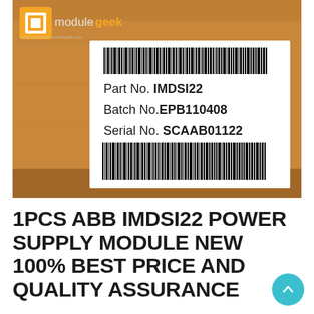[Figure (photo): Photo of a cardboard box with a white label. The label shows: Part No. IMDSI22, Batch No. EPB110408, Serial No. SCAAB01122, along with two barcodes. The modulegeek logo (orange square icon + 'modulegeek' text in orange) appears in the upper left of the box, along with a website URL.]
1PCS ABB IMDSI22 POWER SUPPLY MODULE NEW 100% BEST PRICE AND QUALITY ASSURANCE